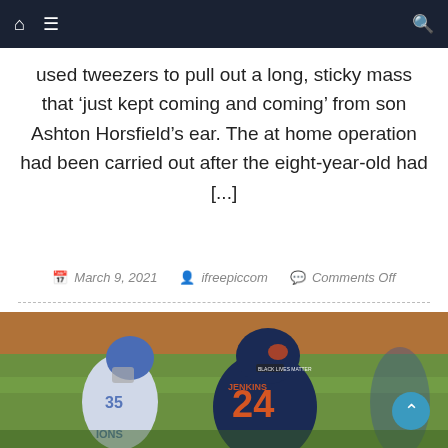Navigation bar with home, menu, and search icons
used tweezers to pull out a long, sticky mass that ‘just kept coming and coming’ from son Ashton Horsfield’s ear. The at home operation had been carried out after the eight-year-old had [...]
March 9, 2021  ifreepiccom  Comments Off
[Figure (photo): NFL football game photo showing a Chicago Bears player wearing jersey #24 facing away, and a Detroit Lions player wearing #33 in white uniform, on a grass field with orange and green blurred background]